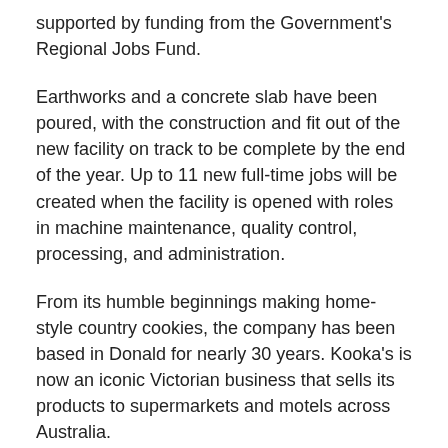supported by funding from the Government's Regional Jobs Fund.
Earthworks and a concrete slab have been poured, with the construction and fit out of the new facility on track to be complete by the end of the year. Up to 11 new full-time jobs will be created when the facility is opened with roles in machine maintenance, quality control, processing, and administration.
From its humble beginnings making home-style country cookies, the company has been based in Donald for nearly 30 years. Kooka's is now an iconic Victorian business that sells its products to supermarkets and motels across Australia.
Kooka's relocation to a larger site in Donald will enable the business to grow significantly to meet growing demand. The company is currently producing 9,837 kilograms of biscuits per week